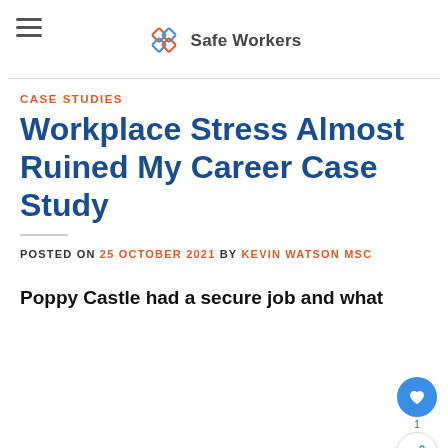Safe Workers
CASE STUDIES
Workplace Stress Almost Ruined My Career Case Study
POSTED ON 25 OCTOBER 2021 BY KEVIN WATSON MSC
Poppy Castle had a secure job and what she thought was a secure life and h